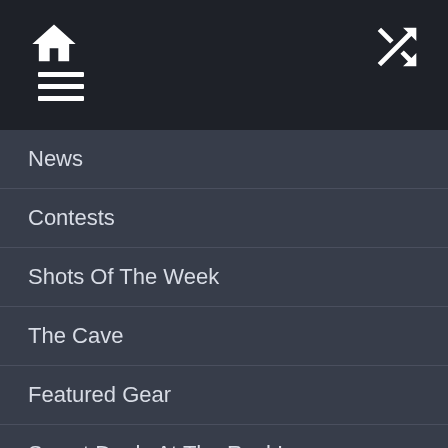Navigation header with home icon, menu icon, and shuffle icon
News
Contests
Shots Of The Week
The Cave
Featured Gear
Sweet Deals At The Rock!
Titleist PRO V1 Golf Balls
Titleist Golf Equipment
HOTTEST Golf Drivers